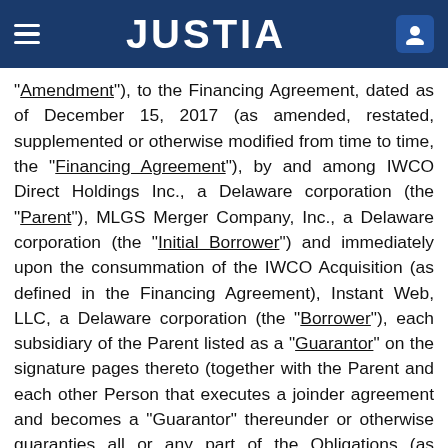JUSTIA
“Amendment”), to the Financing Agreement, dated as of December 15, 2017 (as amended, restated, supplemented or otherwise modified from time to time, the “Financing Agreement”), by and among IWCO Direct Holdings Inc., a Delaware corporation (the “Parent”), MLGS Merger Company, Inc., a Delaware corporation (the “Initial Borrower”) and immediately upon the consummation of the IWCO Acquisition (as defined in the Financing Agreement), Instant Web, LLC, a Delaware corporation (the “Borrower”), each subsidiary of the Parent listed as a “Guarantor” on the signature pages thereto (together with the Parent and each other Person that executes a joinder agreement and becomes a “Guarantor” thereunder or otherwise guaranties all or any part of the Obligations (as defined therein), each a “Guarantor” and, collectively, the “Guarantors”), the lenders from time to time party thereto (each a “Lender”